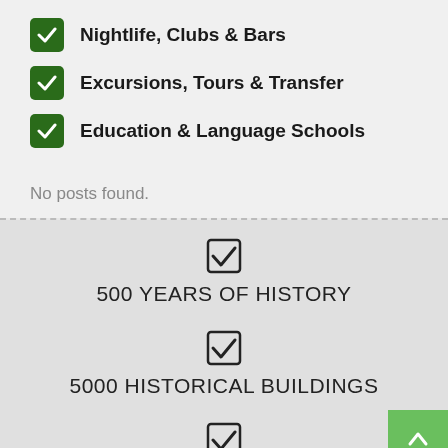Nightlife, Clubs & Bars
Excursions, Tours & Transfer
Education & Language Schools
No posts found.
500 YEARS OF HISTORY
5000 HISTORICAL BUILDINGS